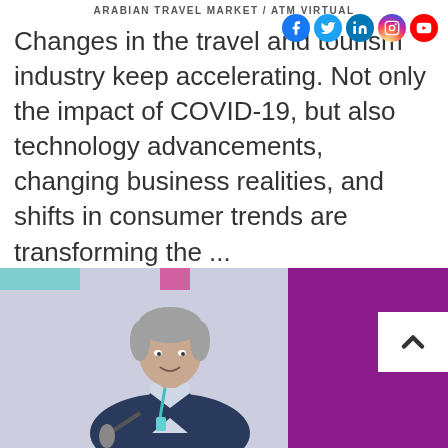ARABIAN TRAVEL MARKET / ATM VIRTUAL
[Figure (infographic): Social media icons: Facebook, Twitter, LinkedIn, Instagram, YouTube]
Changes in the travel and tourism industry keep accelerating. Not only the impact of COVID-19, but also technology advancements, changing business realities, and shifts in consumer trends are transforming the ...
Read more
[Figure (photo): A grey-haired man in a dark suit holding a microphone, speaking at a conference with purple and lavender backdrop]